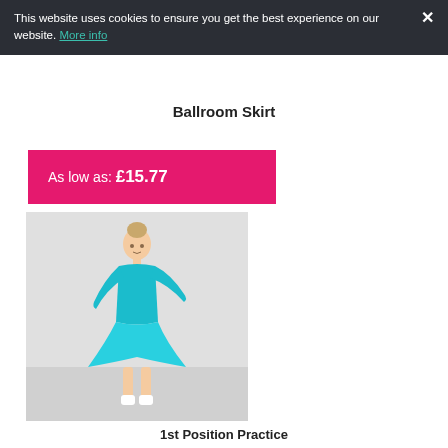This website uses cookies to ensure you get the best experience on our website. More info ×
Ballroom Skirt
As low as: £15.77
[Figure (photo): Young girl wearing a teal/turquoise long-sleeve leotard and matching ballroom practice skirt, posing in a dance stance with white ankle socks/shoes]
1st Position Practice